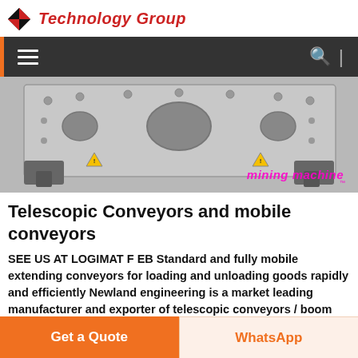Technology Group
[Figure (screenshot): Dark navigation bar with hamburger menu icon on left, search icon and vertical divider on right, on dark gray background]
[Figure (photo): Close-up photo of industrial conveyor/mining machine machinery in gray metal with holes and mechanical components. Overlaid watermark text reads 'mining machine' in pink/magenta italic font.]
Telescopic Conveyors and mobile conveyors
SEE US AT LOGIMAT F EB Standard and fully mobile extending conveyors for loading and unloading goods rapidly and efficiently Newland engineering is a market leading manufacturer and exporter of telescopic conveyors / boom conveyors, vital fo
Get a Quote | WhatsApp